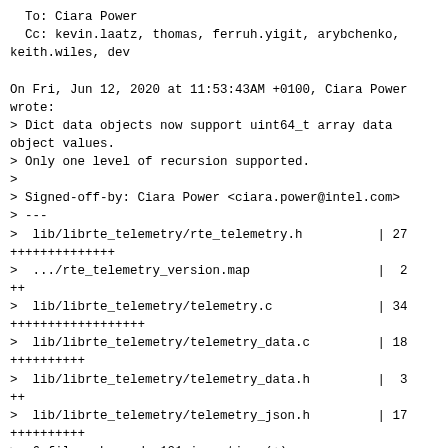To: Ciara Power
  Cc: kevin.laatz, thomas, ferruh.yigit, arybchenko,
keith.wiles, dev

On Fri, Jun 12, 2020 at 11:53:43AM +0100, Ciara Power
wrote:
> Dict data objects now support uint64_t array data
object values.
> Only one level of recursion supported.
>
> Signed-off-by: Ciara Power <ciara.power@intel.com>
> ---
>  lib/librte_telemetry/rte_telemetry.h          | 27
++++++++++++++
>  .../rte_telemetry_version.map                 |  2
++
>  lib/librte_telemetry/telemetry.c              | 34
++++++++++++++++++
>  lib/librte_telemetry/telemetry_data.c         | 18
++++++++++
>  lib/librte_telemetry/telemetry_data.h         |  3
++
>  lib/librte_telemetry/telemetry_json.h         | 17
++++++++++
>  6 files changed, 101 insertions(+)
>
> diff --git a/lib/librte_telemetry/rte_telemetry.h
b/lib/librte_telemetry/rte_telemetry.h
> index 2c3c96cf7..dc18c34d0 100644
> --- a/lib/librte_telemetry/rte_telemetry.h